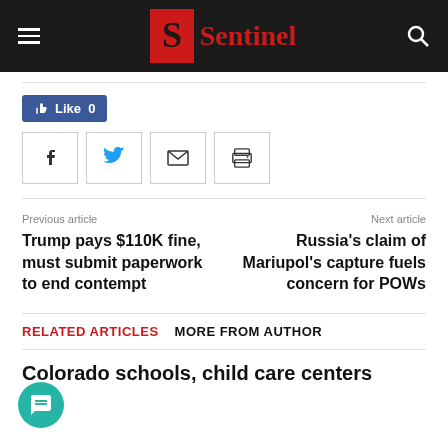Sentinel
[Figure (other): Facebook Like button showing Like 0]
[Figure (other): Social share buttons: Facebook, Twitter, Email, Print]
Previous article
Trump pays $110K fine, must submit paperwork to end contempt
Next article
Russia's claim of Mariupol's capture fuels concern for POWs
RELATED ARTICLES   MORE FROM AUTHOR
Colorado schools, child care centers